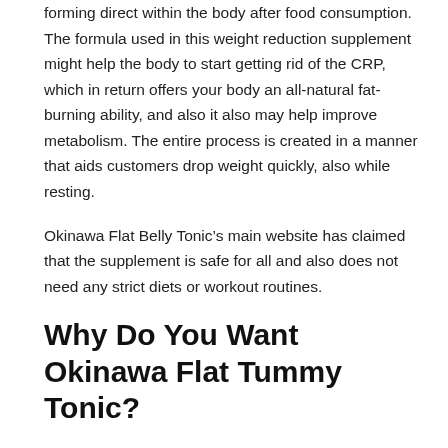forming direct within the body after food consumption. The formula used in this weight reduction supplement might help the body to start getting rid of the CRP, which in return offers your body an all-natural fat-burning ability, and also it also may help improve metabolism. The entire process is created in a manner that aids customers drop weight quickly, also while resting.
Okinawa Flat Belly Tonic’s main website has claimed that the supplement is safe for all and also does not need any strict diets or workout routines.
Why Do You Want Okinawa Flat Tummy Tonic?
Okinawa Flat Tummy Tonic is formulated with 100% natural active ingredients that can assist people eliminate extreme weight. Flat Tummy Tonic comes in the kind of a powder; therefore it can be taken in quickly with water or any type of healthy protein shake.